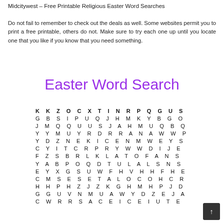Midcitywest – Free Printable Religious Easter Word Searches
Do not fail to remember to check out the deals as well. Some websites permit you to print a free printable, others do not. Make sure to try each one up until you locate one that you like if you know that you need something.
Easter Word Search
[Figure (other): Word search puzzle grid with letters arranged in rows. First row bold: K K Z O C X T I N R P Q G U S, followed by rows: G B S I P U Q J H M K Y B G O, J M Q Q U U S J A H M U Q B Q, Y Y M U Y R D R R A N A W W P, Y D Z N E K I C E N M W E Y S, C Y I T C R P R Y W W D I J E, F Z S B R L K L A T O F A N S, Y A B P O Q D T U L A L S N S, E Y X G S U W F H V H H F H E, C M S E S E T A L O C O H C R, H H P H Z J Z K G H M H P J D, G G U V N M U A W Y D Z E J A, C W R R S A C E I C E I U T E]